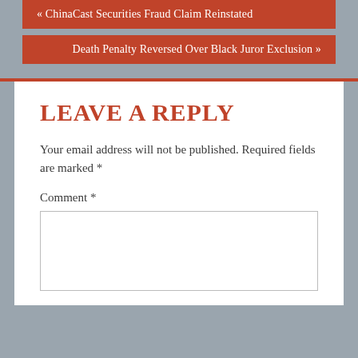« ChinaCast Securities Fraud Claim Reinstated
Death Penalty Reversed Over Black Juror Exclusion »
LEAVE A REPLY
Your email address will not be published. Required fields are marked *
Comment *